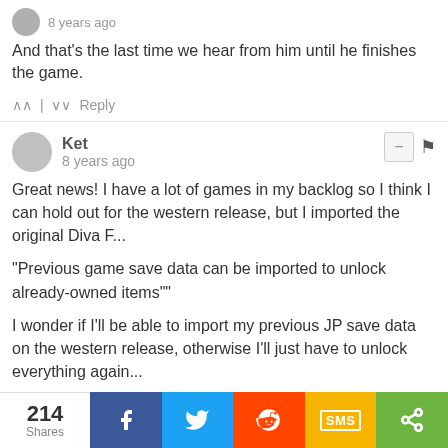8 years ago
And that's the last time we hear from him until he finishes the game.
^ | v Reply
Ket
8 years ago
Great news! I have a lot of games in my backlog so I think I can hold out for the western release, but I imported the original Diva F...

"Previous game save data can be imported to unlock already-owned items""

I wonder if I'll be able to import my previous JP save data on the western release, otherwise I'll just have to unlock everything again...
^ | v Reply
Mikonamous
214 Shares